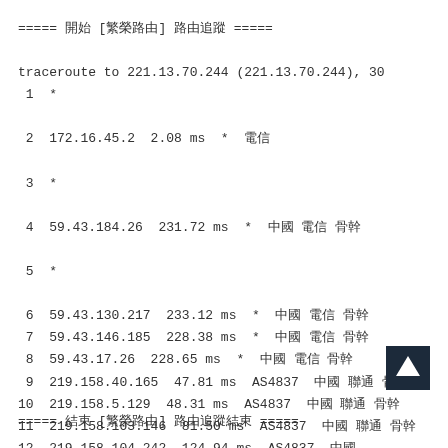===== 開始 [繁榮路由] 路由追蹤 =====
traceroute to 221.13.70.244 (221.13.70.244), 30
 1  *
 2  172.16.45.2  2.08 ms  *  電信
 3  *
 4  59.43.184.26  231.72 ms  *  中國 電信 骨幹
 5  *
 6  59.43.130.217  233.12 ms  *  中國 電信 骨幹
 7  59.43.146.185  228.38 ms  *  中國 電信 骨幹
 8  59.43.17.26  228.65 ms  *  中國 電信 骨幹
 9  219.158.40.165  47.81 ms  AS4837  中國 聯通 骨幹
10  219.158.5.129  48.31 ms  AS4837  中國 聯通 骨幹
11  219.158.103.146  81.50 ms  AS4837  中國 聯通 骨幹
12  219.158.104.242  124.94 ms  AS4837  中國

===== 結束 [繁榮路由] 路由追蹤結束 =====